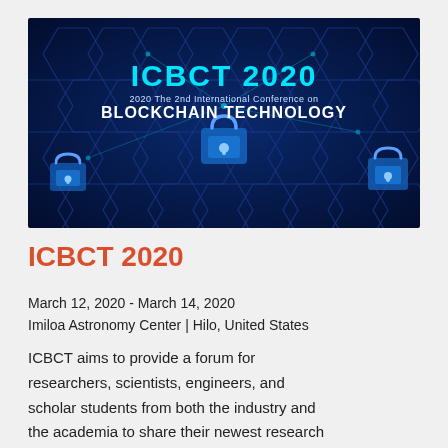[Figure (illustration): Dark blue hexagonal blockchain-themed banner image with text 'ICBCT 2020' in cyan and '2020 The 2nd International Conference on BLOCKCHAIN TECHNOLOGY' in white, with padlock icons on a circuit/network background.]
ICBCT 2020
March 12, 2020 - March 14, 2020
Imiloa Astronomy Center | Hilo, United States
ICBCT aims to provide a forum for researchers, scientists, engineers, and scholar students from both the industry and the academia to share their newest research findings and results; bring to gather